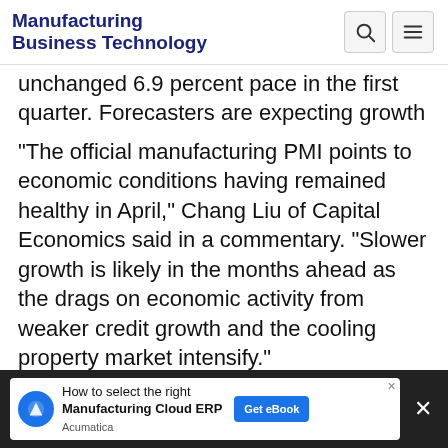Manufacturing Business Technology
unchanged 6.9 percent pace in the first quarter. Forecasters are expecting growth to cool this year as Beijing tries to rein in rising debt levels.
"The official manufacturing PMI points to economic conditions having remained healthy in April," Chang Liu of Capital Economics said in a commentary. "Slower growth is likely in the months ahead as the drags on economic activity from weaker credit growth and the cooling property market intensify."
Advertisement
[Figure (screenshot): Acumatica advertisement banner: 'How to select the right Manufacturing Cloud ERP' with Get eBook button]